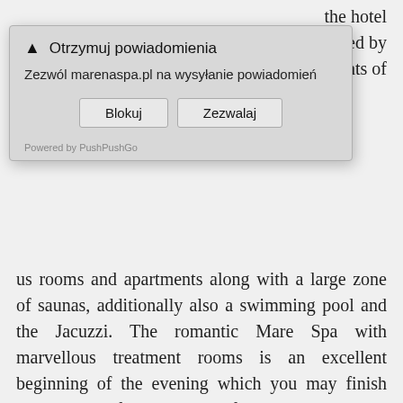[Figure (screenshot): Browser notification permission dialog overlay in Polish. Bell icon with title 'Otrzymuj powiadomienia'. Body text: 'Zezwól marenaspa.pl na wysyłanie powiadomień'. Two buttons: 'Blokuj' and 'Zezwalaj'. Footer: 'Powered by PushPushGo'.]
the hotel offered by delights of us rooms and apartments along with a large zone of saunas, additionally also a swimming pool and the Jacuzzi. The romantic Mare Spa with marvellous treatment rooms is an excellent beginning of the evening which you may finish with a glass of wine in our café. Our young Guests are wholeheartedly welcome to the Rascal's Corner and a playground located in our garden.
High standards entwined with the beauty and lushness of the nature will allow you to re-find your internal strength. The green of trees, soothing singing of birds, gentle rocking of the waves and lightness of the fresh sea air – here's what waits for you on the